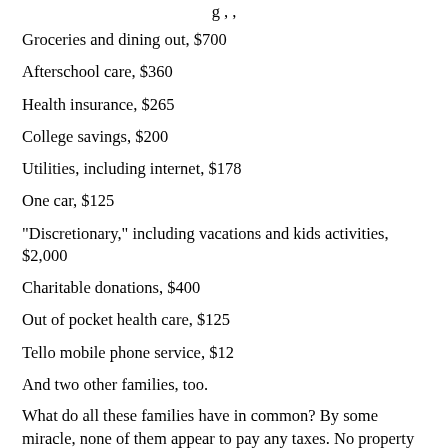Groceries and dining out, $700
Afterschool care, $360
Health insurance, $265
College savings, $200
Utilities, including internet, $178
One car, $125
"Discretionary," including vacations and kids activities, $2,000
Charitable donations, $400
Out of pocket health care, $125
Tello mobile phone service, $12
And two other families, too.
What do all these families have in common? By some miracle, none of them appear to pay any taxes. No property taxes. No sales or use taxes. No quarterly estimated income taxes. No cellphone